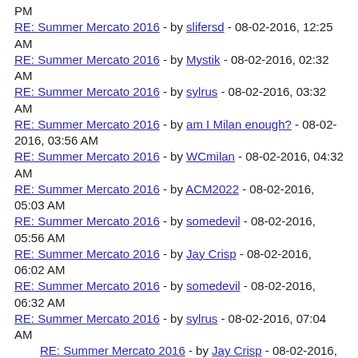PM
RE: Summer Mercato 2016 - by slifersd - 08-02-2016, 12:25 AM
RE: Summer Mercato 2016 - by Mystik - 08-02-2016, 02:32 AM
RE: Summer Mercato 2016 - by sylrus - 08-02-2016, 03:32 AM
RE: Summer Mercato 2016 - by am I Milan enough? - 08-02-2016, 03:56 AM
RE: Summer Mercato 2016 - by WCmilan - 08-02-2016, 04:32 AM
RE: Summer Mercato 2016 - by ACM2022 - 08-02-2016, 05:03 AM
RE: Summer Mercato 2016 - by somedevil - 08-02-2016, 05:56 AM
RE: Summer Mercato 2016 - by Jay Crisp - 08-02-2016, 06:02 AM
RE: Summer Mercato 2016 - by somedevil - 08-02-2016, 06:32 AM
RE: Summer Mercato 2016 - by sylrus - 08-02-2016, 07:04 AM
RE: Summer Mercato 2016 - by Jay Crisp - 08-02-2016, 08:12 AM
RE: Summer Mercato 2016 - by Arildonardo - 08-02-2016, 07:46 AM